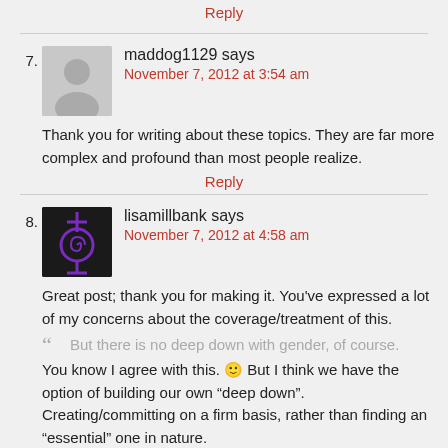Reply
7. maddog1129 says
November 7, 2012 at 3:54 am
Thank you for writing about these topics. They are far more complex and profound than most people realize.
Reply
8. lisamillbank says
November 7, 2012 at 4:58 am
Great post; thank you for making it. You've expressed a lot of my concerns about the coverage/treatment of this.
But there is no deep down with gender, of course.
You know I agree with this. 🙂 But I think we have the option of building our own “deep down”.
Creating/committing on a firm basis, rather than finding an “essential” one in nature.